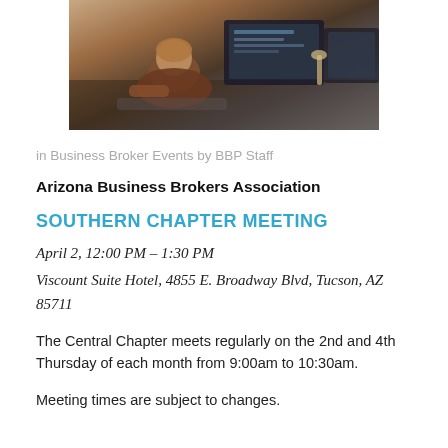[Figure (photo): Person working at a computer with dual monitors in an office setting, viewed from behind.]
in Business Broker Events by BBP Staff
Arizona Business Brokers Association
SOUTHERN CHAPTER MEETING
April 2, 12:00 PM – 1:30 PM
Viscount Suite Hotel, 4855 E. Broadway Blvd, Tucson, AZ 85711
The Central Chapter meets regularly on the 2nd and 4th Thursday of each month from 9:00am to 10:30am.
Meeting times are subject to changes.